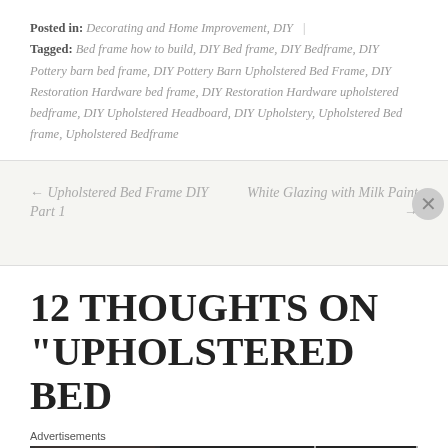Posted in: Decorating and Home Improvement, DIY | Tagged: Bed frame how to build, DIY Bed frame, DIY Bedframe, DIY Pottery barn bed frame, DIY Pottery Barn Upholstered Bed Frame, DIY Restoration Hardware bed frame, DIY Restoration Hardware upholstered bedframe, DIY Upholstered Headboard, DIY Upholstery, Upholstered Bed frame, Upholstered Bedframe
← Upholstered Bed Frame DIY Part 1
White Glazing with Milk Paint →
12 THOUGHTS ON "UPHOLSTERED BED
[Figure (other): Seamless food delivery advertisement banner with pizza image on left, red Seamless logo in center, and ORDER NOW button on right]
Advertisements